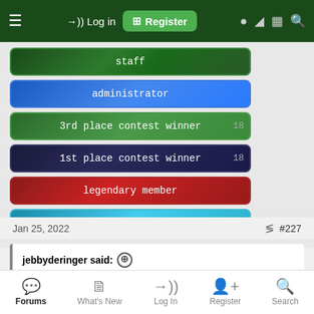≡  →) Log in  ⊞ Register
[Figure (screenshot): Forum user badge: staff (dark green pixel art)]
[Figure (screenshot): Forum user badge: administrator (blue gradient)]
[Figure (screenshot): Forum user badge: 3rd place contest winner (green gradient)]
[Figure (screenshot): Forum user badge: 1st place contest winner (dark navy gradient)]
[Figure (screenshot): Forum user badge: legendary member (dark red gradient)]
[Figure (screenshot): Forum user badge: PortablizeMii team (cyan/teal gradient)]
Jan 25, 2022  #227
jebbyderinger said: ⊕
Its a Sandisk adapter, they sometimes package them with the cards. I tried again formatting on my PC and had the same issue. Previous versions that didn't support Sandisk cards it took over a month of use
Forums  What's New  Log In  Register  Search